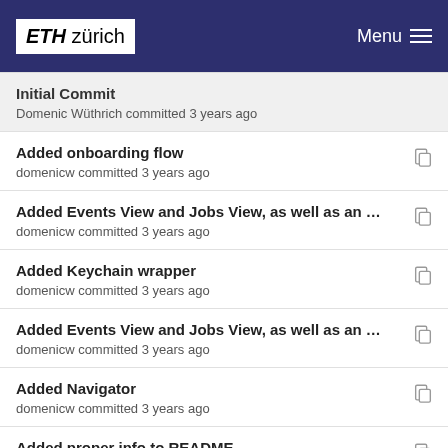ETH zürich  Menu
Initial Commit
Domenic Wüthrich committed 3 years ago
Added onboarding flow
domenicw committed 3 years ago
Added Events View and Jobs View, as well as an …
domenicw committed 3 years ago
Added Keychain wrapper
domenicw committed 3 years ago
Added Events View and Jobs View, as well as an …
domenicw committed 3 years ago
Added Navigator
domenicw committed 3 years ago
Added proper info to README
domenicw committed 3 years ago
Added Settings
domenicw committed 3 years ago